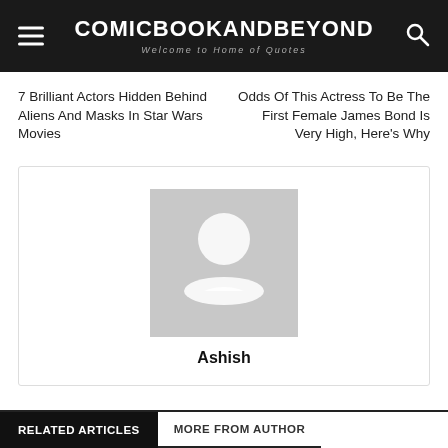COMICBOOKANDBEYOND — Welcome to Home of Quotes
7 Brilliant Actors Hidden Behind Aliens And Masks In Star Wars Movies
Odds Of This Actress To Be The First Female James Bond Is Very High, Here's Why
[Figure (illustration): Gray placeholder avatar image with silhouette of a person]
Ashish
RELATED ARTICLES   MORE FROM AUTHOR